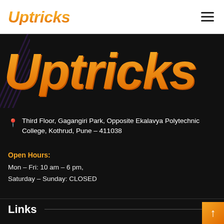Uptricks
[Figure (logo): Large Uptricks logo in orange gradient italic bold font on dark background]
Third Floor, Gagangiri Park, Opposite Ekalavya Polytechnic College, Kothrud, Pune – 411038
Open Hours:
Mon – Fri: 10 am – 6 pm,
Saturday – Sunday: CLOSED
Links